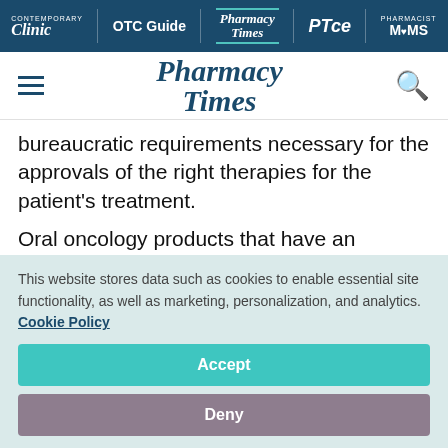Clinic | OTC Guide | Pharmacy Times | PTce | Pharmacist MOMS
[Figure (logo): Pharmacy Times logo with hamburger menu and search icon]
bureaucratic requirements necessary for the approvals of the right therapies for the patient's treatment.

Oral oncology products that have an associated limited distribution policy often have their own
This website stores data such as cookies to enable essential site functionality, as well as marketing, personalization, and analytics. Cookie Policy
Accept
Deny